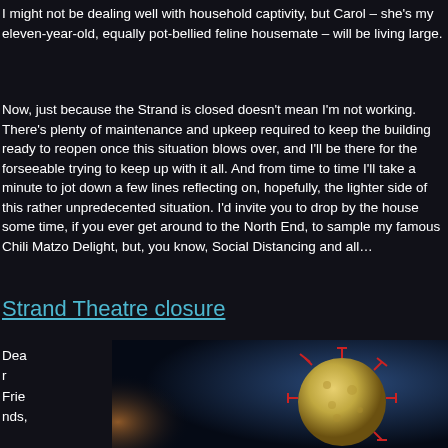I might not be dealing well with household captivity, but Carol – she's my eleven-year-old, equally pot-bellied feline housemate – will be living large.
Now, just because the Strand is closed doesn't mean I'm not working. There's plenty of maintenance and upkeep required to keep the building ready to reopen once this situation blows over, and I'll be there for the forseeable trying to keep up with it all. And from time to time I'll take a minute to jot down a few lines reflecting on, hopefully, the lighter side of this rather unpredecented situation. I'd invite you to drop by the house some time, if you ever get around to the North End, to sample my famous Chili Matzo Delight, but, you know, Social Distancing and all…
Strand Theatre closure
Dear Friends, As our
[Figure (illustration): 3D rendering of a coronavirus particle (yellow/beige sphere with red spike proteins) against a dark blue background]